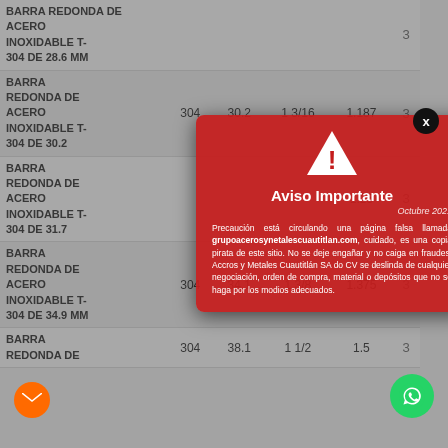| DESCRIPCIÓN | TIPO | MM | PULG | KG/MT |  |
| --- | --- | --- | --- | --- | --- |
| BARRA REDONDA DE ACERO INOXIDABLE T-304 DE 28.6 MM |  |  |  |  |  |
| BARRA REDONDA DE ACERO INOXIDABLE T-304 DE 30.2 MM | 304 | 30.2 | 1 3/16 | 1.187 |  |
| BARRA REDONDA DE ACERO INOXIDABLE T-304 DE 31.7 MM |  |  |  | 1.25 |  |
| BARRA REDONDA DE ACERO INOXIDABLE T-304 DE 34.9 MM |  |  | 1 3/8 | 1.375 |  |
| BARRA REDONDA DE ACERO INOXIDABLE T-304 DE 38.1 MM | 304 | 38.1 | 1 1/2 | 1.5 |  |
[Figure (screenshot): Modal popup warning about a fake website called grupoacerosynetalescuautitlan.com. Title: Aviso Importante. Date: Octubre 2021. Warning triangle icon. Text warns users about a pirate copy of the site and fraudulent transactions.]